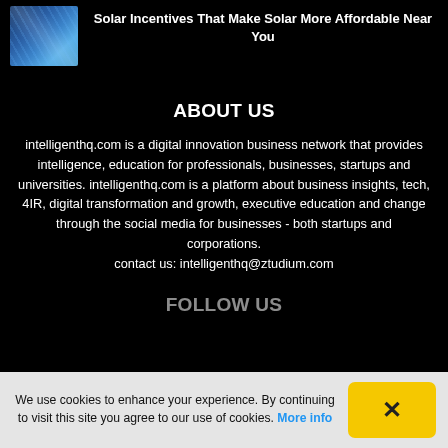[Figure (photo): Small thumbnail image of solar panels with blue sky]
Solar Incentives That Make Solar More Affordable Near You
ABOUT US
intelligenthq.com is a digital innovation business network that provides intelligence, education for professionals, businesses, startups and universities. intelligenthq.com is a platform about business insights, tech, 4IR, digital transformation and growth, executive education and change through the social media for businesses - both startups and corporations.
contact us: intelligenthq@ztudium.com
FOLLOW US
We use cookies to enhance your experience. By continuing to visit this site you agree to our use of cookies. More info